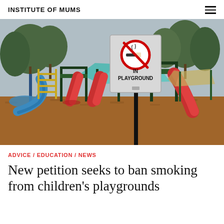INSTITUTE OF MUMS
[Figure (photo): Playground with multiple slides and climbing equipment on wood chip ground. A no-smoking sign with text 'IN PLAYGROUND' is prominently displayed in the foreground. Trees visible in background.]
ADVICE / EDUCATION / NEWS
New petition seeks to ban smoking from children's playgrounds